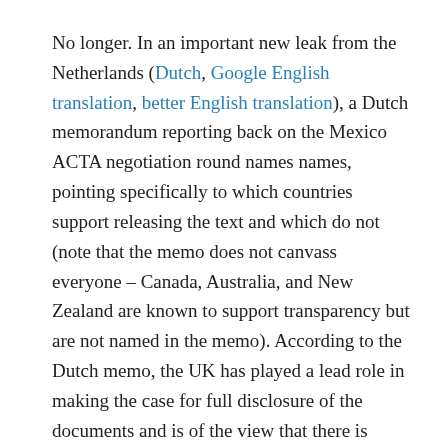No longer. In an important new leak from the Netherlands (Dutch, Google English translation, better English translation), a Dutch memorandum reporting back on the Mexico ACTA negotiation round names names, pointing specifically to which countries support releasing the text and which do not (note that the memo does not canvass everyone – Canada, Australia, and New Zealand are known to support transparency but are not named in the memo). According to the Dutch memo, the UK has played a lead role in making the case for full disclosure of the documents and is of the view that there is consensus for release of the text (there is support from many countries including the Netherlands, Sweden, Finland, Ireland, Hungary, Poland, Estonia, and Austria).  However, the memo indicates that several countries are not fully supportive including Belgium, Portugal, Germany, and Denmark.  Of these four countries, the Dutch believe that Denmark is the most inflexible on the